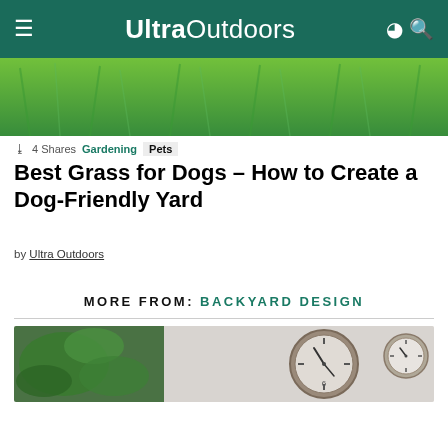Ultra Outdoors
[Figure (photo): Green grass lawn close-up hero image]
◁ 4 Shares   Gardening   Pets
Best Grass for Dogs – How to Create a Dog-Friendly Yard
by Ultra Outdoors
MORE FROM: BACKYARD DESIGN
[Figure (photo): Thumbnail image showing a plant and gauge/clock instruments on a white marble surface]